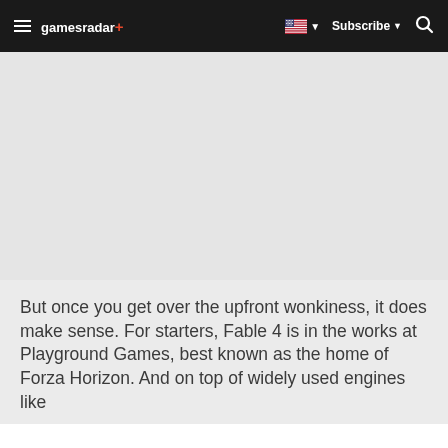gamesradar+ | Subscribe | Search
[Figure (other): Gray placeholder area for advertisement or image]
But once you get over the upfront wonkiness, it does make sense. For starters, Fable 4 is in the works at Playground Games, best known as the home of Forza Horizon. And on top of widely used engines like